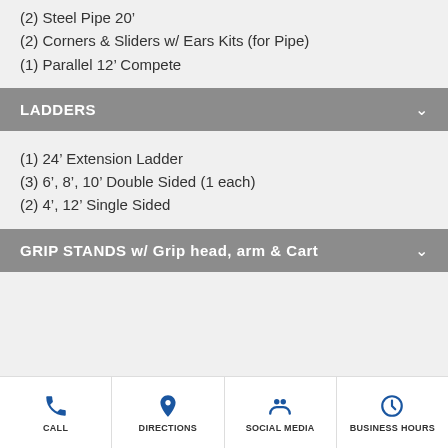(2) Steel Pipe 20'
(2) Corners & Sliders w/ Ears Kits (for Pipe)
(1) Parallel 12' Compete
LADDERS
(1) 24' Extension Ladder
(3) 6', 8', 10' Double Sided (1 each)
(2) 4', 12' Single Sided
GRIP STANDS w/ Grip head, arm & Cart
CALL  DIRECTIONS  SOCIAL MEDIA  BUSINESS HOURS